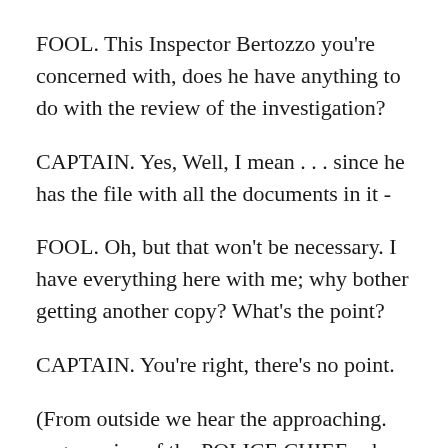FOOL. This Inspector Bertozzo you're concerned with, does he have anything to do with the review of the investigation?
CAPTAIN. Yes, Well, I mean . . . since he has the file with all the documents in it -
FOOL. Oh, but that won't be necessary. I have everything here with me; why bother getting another copy? What's the point?
CAPTAIN. You're right, there's no point.
(From outside we hear the approaching. angry voice of the POLICE CHIEF, who enters like a catapult. The officer follows close behind him, abashed and nervous.)
POLICE CHIEF. I would like to know, Inspector, just